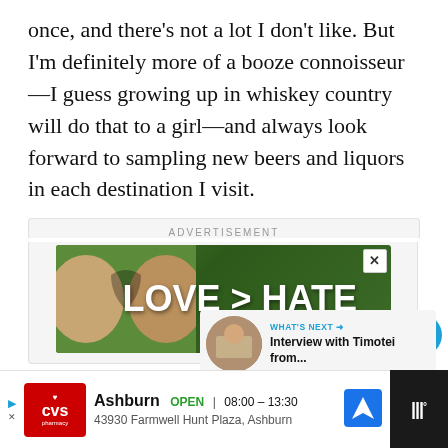once, and there’s not a lot I don’t like. But I’m definitely more of a booze connoisseur—I guess growing up in whiskey country will do that to a girl—and always look forward to sampling new beers and liquors in each destination I visit.
[Figure (screenshot): Advertisement banner with text LOVE > HATE on a green leafy background with hands forming a heart shape]
ADVERTISEMENT
[Figure (screenshot): Social interaction sidebar with a like button showing count of 1 and a share button]
[Figure (screenshot): What's Next widget showing Interview with Timotei from... with a thumbnail image]
[Figure (screenshot): Bottom advertisement bar for CVS Pharmacy in Ashburn showing OPEN 08:00-13:30, 43930 Farmwell Hunt Plaza, Ashburn]